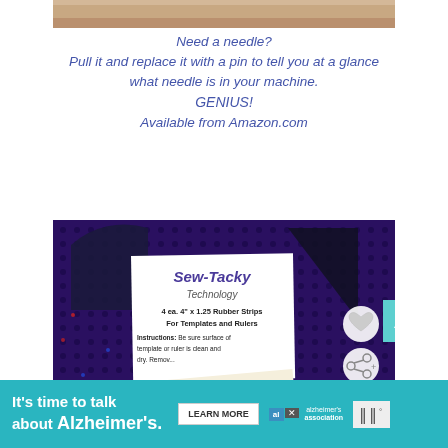[Figure (photo): Top partial image showing what appears to be a hand or skin-toned object]
Need a needle?
Pull it and replace it with a pin to tell you at a glance what needle is in your machine.
GENIUS!
Available from Amazon.com
[Figure (photo): Photo of Sew-Tacky Technology product on purple perforated background. Shows a white card label reading 'Sew-Tacky Technology, 4 ea. 4" x 1.25 Rubber Strips For Templates and Rulers, Instructions: Be sure surface of template or ruler is clean and dry. Remove...' with a dark acrylic template piece, and white paper instruction strips below.]
[Figure (infographic): Ad banner: It's time to talk about Alzheimer's. LEARN MORE button. Alzheimer's Association logo.]